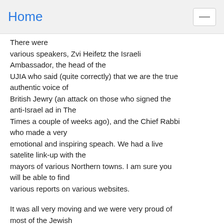Home
There were various speakers, Zvi Heifetz the Israeli Ambassador, the head of the UJIA who said (quite correctly) that we are the true authentic voice of British Jewry (an attack on those who signed the anti-Israel ad in The Times a couple of weeks ago), and the Chief Rabbi who made a very emotional and inspiring speach. We had a live satelite link-up with the mayors of various Northern towns. I am sure you will be able to find various reports on various websites.
It was all very moving and we were very proud of most of the Jewish community.
The one upsetting part, in my mind, was that apart from Chabad (who